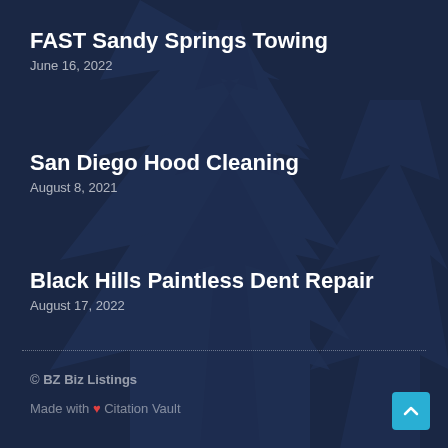FAST Sandy Springs Towing
June 16, 2022
San Diego Hood Cleaning
August 8, 2021
Black Hills Paintless Dent Repair
August 17, 2022
© BZ Biz Listings
Made with ♥ Citation Vault